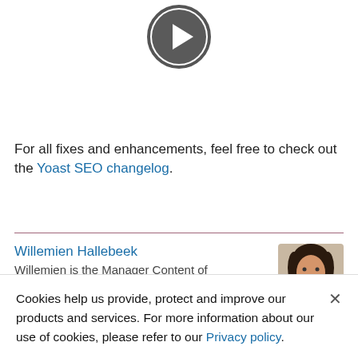[Figure (other): A circular play button icon — dark grey circle with a white triangle pointing right]
For all fixes and enhancements, feel free to check out the Yoast SEO changelog.
Willemien Hallebeek
Willemien is the Manager Content of
[Figure (photo): Head and shoulders photo of a woman with dark hair, cropped, partially visible]
Cookies help us provide, protect and improve our products and services. For more information about our use of cookies, please refer to our Privacy policy.